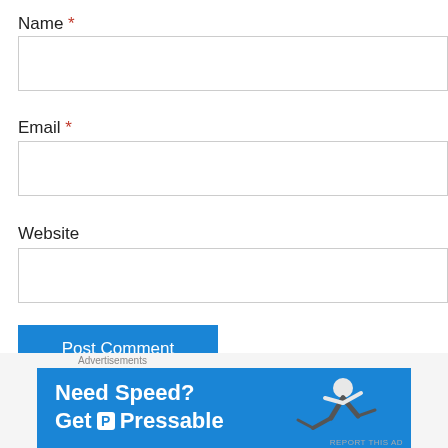Name *
Email *
Website
Post Comment
Notify me of new comments via email
Advertisements
[Figure (infographic): Pressable hosting advertisement banner: 'Need Speed? Get Pressable' with image of person flying horizontally on blue background]